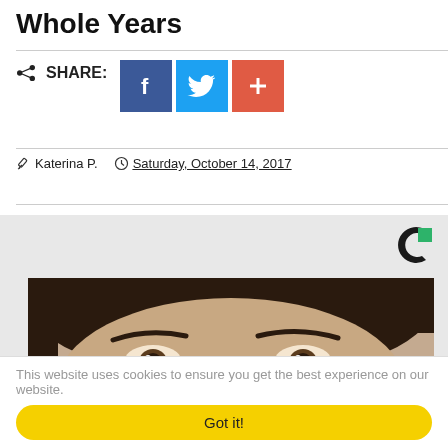Whole Years
SHARE:
[Figure (screenshot): Social share buttons: Facebook (blue), Twitter (light blue), and a red plus/add button]
Katerina P.   Saturday, October 14, 2017
[Figure (photo): Close-up photo of a woman's face with dark hair, eyes looking upward, and something white on her nose area]
This website uses cookies to ensure you get the best experience on our website.
Got it!